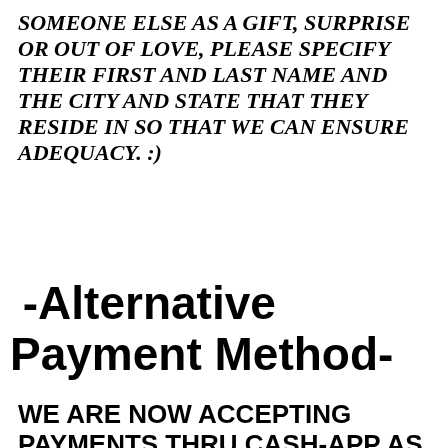SOMEONE ELSE AS A GIFT, SURPRISE OR OUT OF LOVE, PLEASE SPECIFY THEIR FIRST AND LAST NAME AND THE CITY AND STATE THAT THEY RESIDE IN SO THAT WE CAN ENSURE ADEQUACY. :)
-Alternative Payment Method-
WE ARE NOW ACCEPTING PAYMENTS THRU CASH-APP AS AN